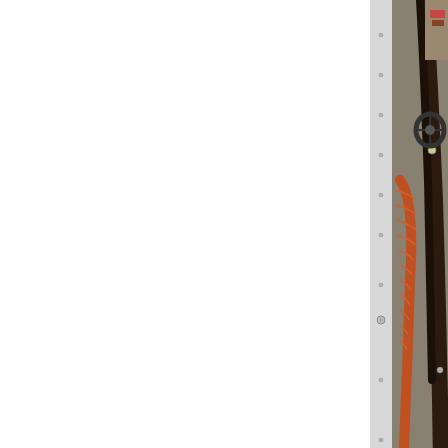[Figure (photo): Close-up photo of aircraft engine compartment showing wiring harnesses, hoses, and bulkhead. Orange corrugated flexible duct, black cables, brown/white hoses, and metal panel with rivets visible.]
Don't know how this would work well with the rig... engine vibration....maybe I am missing somethi...
09-03-2019, 09:19 AM
dreed
The ducting isn't fixed to the baffling, there is ju...